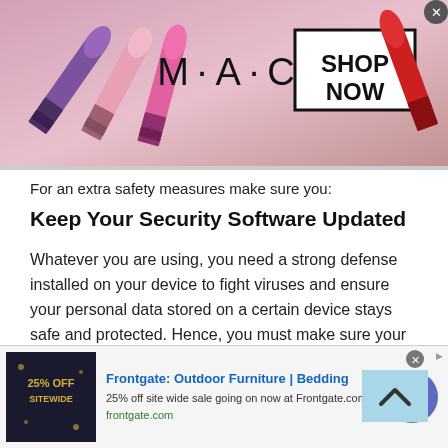[Figure (screenshot): MAC cosmetics advertisement banner showing colorful lipsticks on left, MAC logo in center, and a SHOP NOW button in a box on the right with a red lipstick. Close button (x) in top-right corner.]
For an extra safety measures make sure you:
Keep Your Security Software Updated
Whatever you are using, you need a strong defense installed on your device to fight viruses and ensure your personal data stored on a certain device stays safe and protected. Hence, you must make sure your software or security features are always up to date. Do not delay installing the latest versions because these will be your main defense against any virus that you might encounter
[Figure (screenshot): Frontgate outdoor furniture advertisement. Left side shows dark image with '25% OFF SITEWIDE' text. Center shows 'Frontgate: Outdoor Furniture | Bedding' title in blue, '25% off site wide sale going on now at Frontgate.com' description, and 'frontgate.com' URL in green. Right side shows purple/indigo circular arrow button. Close button and 'Ad' label at top right.]